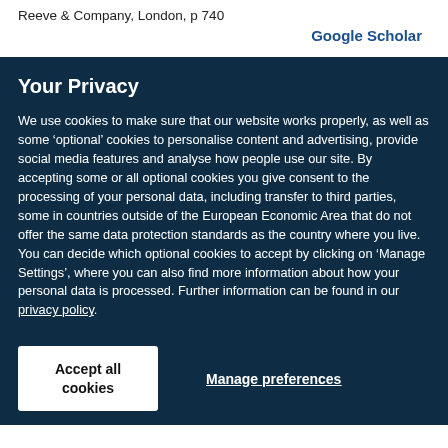Reeve & Company, London, p 740
Google Scholar
Your Privacy
We use cookies to make sure that our website works properly, as well as some ‘optional’ cookies to personalise content and advertising, provide social media features and analyse how people use our site. By accepting some or all optional cookies you give consent to the processing of your personal data, including transfer to third parties, some in countries outside of the European Economic Area that do not offer the same data protection standards as the country where you live. You can decide which optional cookies to accept by clicking on ‘Manage Settings’, where you can also find more information about how your personal data is processed. Further information can be found in our privacy policy.
Accept all cookies
Manage preferences